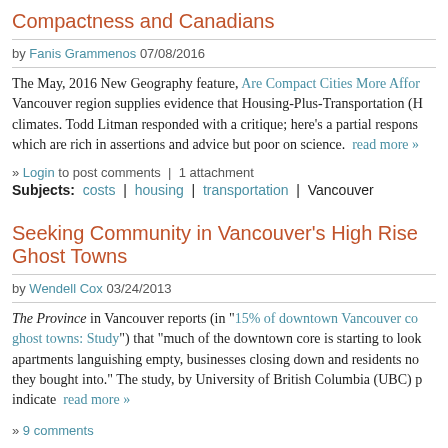Compactness and Canadians
by Fanis Grammenos 07/08/2016
The May, 2016 New Geography feature, Are Compact Cities More Affo... Vancouver region supplies evidence that Housing-Plus-Transportation (H... climates. Todd Litman responded with a critique; here's a partial respons... which are rich in assertions and advice but poor on science.  read more »
» Login to post comments  |  1 attachment
Subjects: costs | housing | transportation | Vancouver
Seeking Community in Vancouver's High Rise Ghost Towns
by Wendell Cox 03/24/2013
The Province in Vancouver reports (in "15% of downtown Vancouver co... ghost towns: Study") that "much of the downtown core is starting to look... apartments languishing empty, businesses closing down and residents no... they bought into." The study, by University of British Columbia (UBC) p... indicate  read more »
» 9 comments